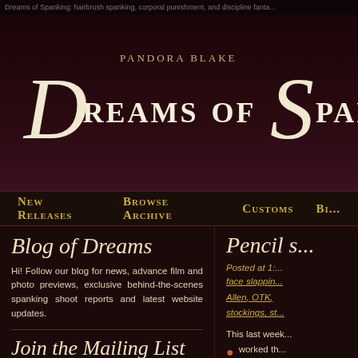Dreams of Spanking: hairbrush spanking, corporal punishment, and discipline fanta...
[Figure (logo): Pandora Blake Dreams of Spanking logo with decorative script lettering on dark background]
New Releases   Browse Archive   Customs   Bi...
Blog of Dreams
Hi! Follow our blog for news, advance film and photo previews, exclusive behind-the-scenes spanking shoot reports and latest website updates.
Join the Mailing List
Your email address:
Pencil s...
Posted at 1:...
face slappin..., Allen, OTK, stockings, st...
This last week...
worked th...